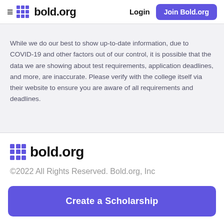bold.org — Login | Join Bold.org
While we do our best to show up-to-date information, due to COVID-19 and other factors out of our control, it is possible that the data we are showing about test requirements, application deadlines, and more, are inaccurate. Please verify with the college itself via their website to ensure you are aware of all requirements and deadlines.
bold.org ©2022 All Rights Reserved. Bold.org, Inc
Create a Scholarship